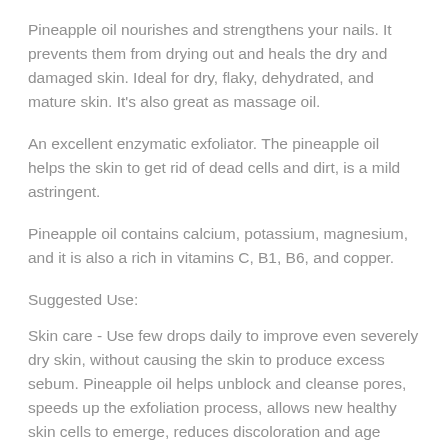Pineapple oil nourishes and strengthens your nails. It prevents them from drying out and heals the dry and damaged skin. Ideal for dry, flaky, dehydrated, and mature skin. It's also great as massage oil.
An excellent enzymatic exfoliator. The pineapple oil helps the skin to get rid of dead cells and dirt, is a mild astringent.
Pineapple oil contains calcium, potassium, magnesium, and it is also a rich in vitamins C, B1, B6, and copper.
Suggested Use:
Skin care - Use few drops daily to improve even severely dry skin, without causing the skin to produce excess sebum. Pineapple oil helps unblock and cleanse pores, speeds up the exfoliation process, allows new healthy skin cells to emerge, reduces discoloration and age spots.